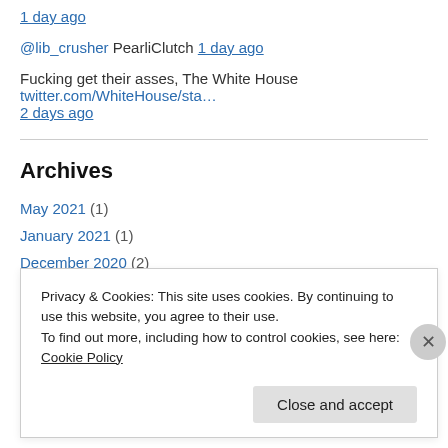1 day ago
@lib_crusher PearliClutch 1 day ago
Fucking get their asses, The White House twitter.com/WhiteHouse/sta…
2 days ago
Archives
May 2021 (1)
January 2021 (1)
December 2020 (2)
November 2020 (1)
Privacy & Cookies: This site uses cookies. By continuing to use this website, you agree to their use.
To find out more, including how to control cookies, see here: Cookie Policy
Close and accept